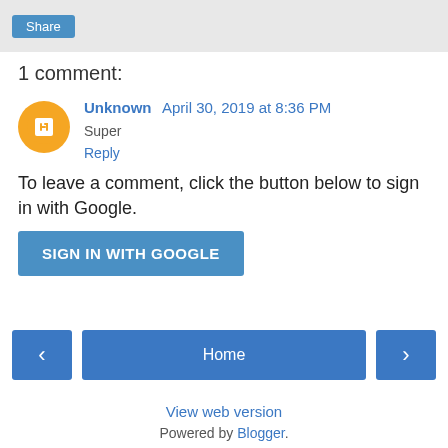Share
1 comment:
Unknown April 30, 2019 at 8:36 PM
Super
Reply
To leave a comment, click the button below to sign in with Google.
SIGN IN WITH GOOGLE
Home
View web version
Powered by Blogger.